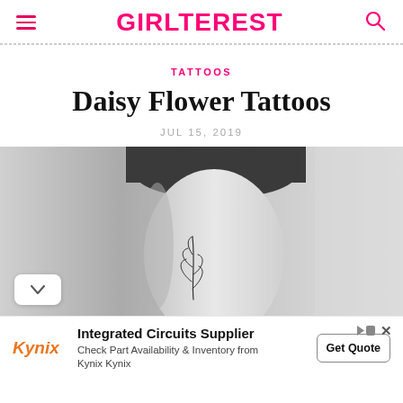GIRLTEREST
TATTOOS
Daisy Flower Tattoos
JUL 15, 2019
[Figure (photo): Black and white photo of a person's thigh/hip area showing a delicate botanical tattoo of a leafy stem]
Integrated Circuits Supplier
Check Part Availability & Inventory from Kynix Kynix
Get Quote